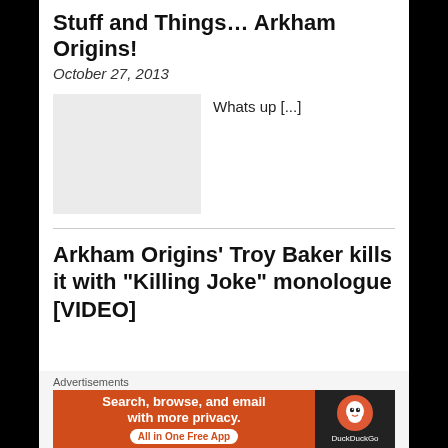Stuff and Things… Arkham Origins!
October 27, 2013
[Figure (photo): Placeholder/thumbnail image (light gray rectangle)]
Whats up [...]
Arkham Origins' Troy Baker kills it with “Killing Joke” monologue [VIDEO]
Advertisements
[Figure (other): DuckDuckGo advertisement banner: 'Search, browse, and email with more privacy. All in One Free App' with DuckDuckGo logo on dark background]